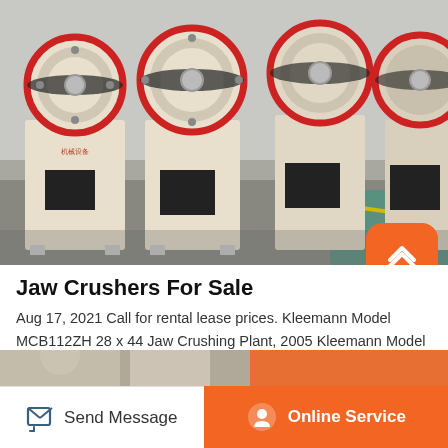[Figure (photo): Industrial jaw crusher machines lined up in a factory/warehouse setting. Multiple large beige/cream colored crushing machines with red and black flywheels, photographed from the front in an industrial hall with grey flooring and a teal/green area in the background.]
Jaw Crushers For Sale
Aug 17, 2021 Call for rental lease prices. Kleemann Model MCB112ZH 28 x 44 Jaw Crushing Plant, 2005 Kleemann Model MCB112ZH 28 x 44 Jaw Crushing Plant, Track Mounted. Condition. Used. MLS Number. 10298565. Location. Portland, OR, US. Listed by.
[Figure (photo): Partial thumbnail strip of another jaw crusher image at the bottom of the page.]
Send Message | Online Service